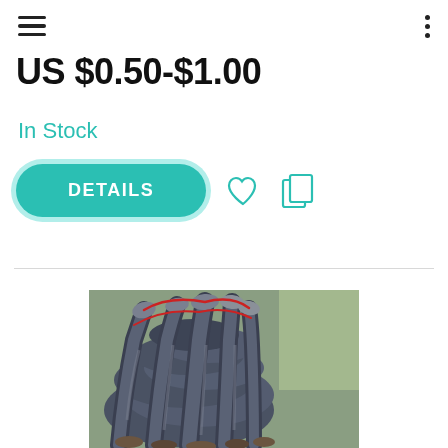Navigation bar with hamburger menu and dots menu
US $0.50-$1.00
In Stock
DETAILS
[Figure (photo): A pile of dark blue-grey fox fur pelts bundled together with red ties, photographed from above in a box or crate.]